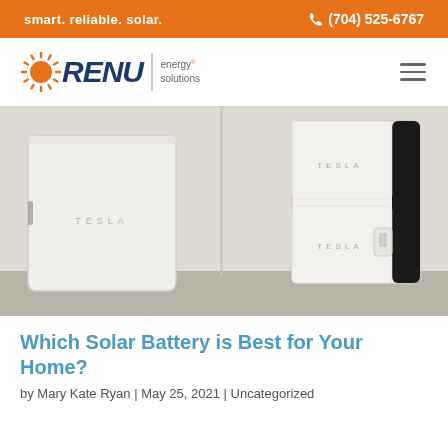smart. reliable. solar.  ☎ (704) 525-6767
[Figure (logo): Renu Energy Solutions logo with sun icon, dark blue italic RENU text, vertical divider, and 'energy solutions' text]
[Figure (photo): Photo of two Tesla Powerwall solar battery units mounted on a white wall indoors]
Which Solar Battery is Best for Your Home?
by Mary Kate Ryan | May 25, 2021 | Uncategorized